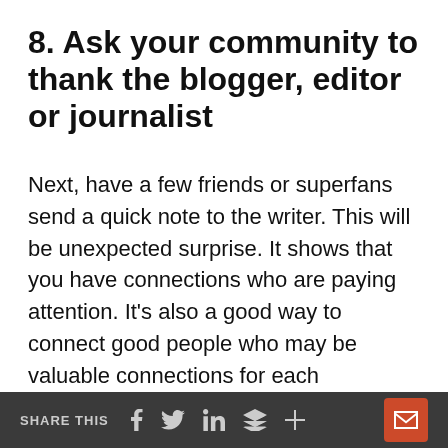8. Ask your community to thank the blogger, editor or journalist
Next, have a few friends or superfans send a quick note to the writer. This will be unexpected surprise. It shows that you have connections who are paying attention. It's also a good way to connect good people who may be valuable connections for each
SHARE THIS [social icons] [email icon]